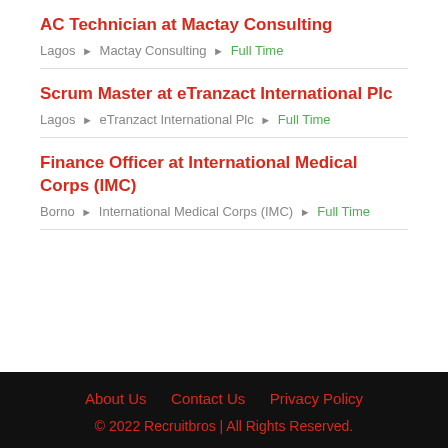AC Technician at Mactay Consulting
Lagos ▸ Mactay Consulting ▸ Full Time
Scrum Master at eTranzact International Plc
Lagos ▸ eTranzact International Plc ▸ Full Time
Finance Officer at International Medical Corps (IMC)
Borno ▸ International Medical Corps (IMC) ▸ Full Time
About Us   Contact Us   Privacy Policy   © 2022 Recruitbros | All Rights Reserved.